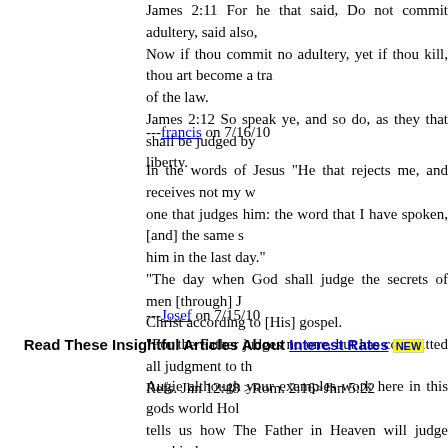James 2:11 For he that said, Do not commit adultery, said also, Now if thou commit no adultery, yet if thou kill, thou art become a transgressor of the law. James 2:12 So speak ye, and so do, as they that shall be judged by the law of liberty.
---francis on 7/16/10
In the words of Jesus "He that rejects me, and receives not my words, has one that judges him: the word that I have spoken, [and] the same shall judge him in the last day." "The day when God shall judge the secrets of men [through] Jesus Christ according to [His] gospel. "For the Father judges no one, but has committed all judgment to the Son Refs. Jhn 12:48 >Rom. 2:16>Jhn 5:22
---Josef on 7/15/10
Read These Insightful Articles About Interest Rates NEW
Augie although your examples work here in this gods world Holy Spirit tells us how The Father in Heaven will judge mankind
it's easy to comprehend ...by BREAKING Gods Laws often times ex multitude of things from financial hardship sickness and turmoil in other relations
The Father in Heaven is ONLY judging those whom HE has called...